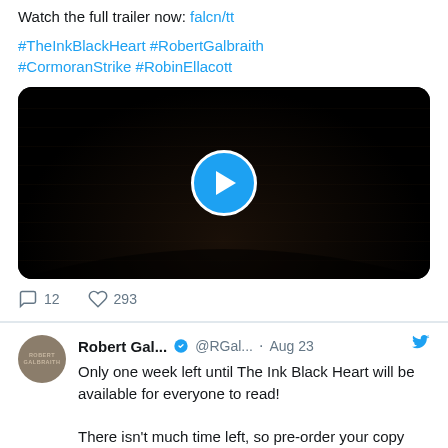Watch the full trailer now: falcn/tt
#TheInkBlackHeart #RobertGalbraith #CormoranStrike #RobinEllacott
[Figure (screenshot): Dark video thumbnail with a circular blue play button in the center]
12 comments, 293 likes
Robert Gal... @RGal... · Aug 23
Only one week left until The Ink Black Heart will be available for everyone to read!

There isn't much time left, so pre-order your copy now: fal.cn/3rgE7